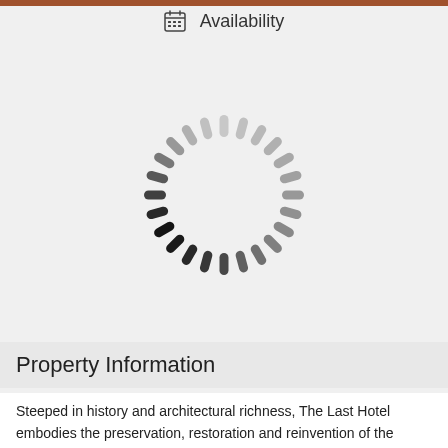[Figure (screenshot): Top terracotta/brown horizontal bar at the very top of the screen]
Availability
[Figure (other): Circular loading spinner animation with radial spokes transitioning from light gray at top-right to near-black at the bottom]
Property Information
Steeped in history and architectural richness, The Last Hotel embodies the preservation, restoration and reinvention of the International Shoe Company. Originally opened in 1909, the iconic building boasts elaborate stone carvings, ornate metalwork and terrazzo floors all in the Neoclassical and Art Deco styles. By forging a marriage of historic details and modern interiors, The Last comes alive with renewed energy while nodding to a